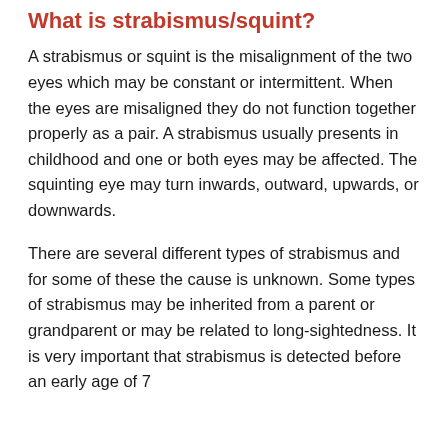What is strabismus/squint?
A strabismus or squint is the misalignment of the two eyes which may be constant or intermittent. When the eyes are misaligned they do not function together properly as a pair. A strabismus usually presents in childhood and one or both eyes may be affected. The squinting eye may turn inwards, outward, upwards, or downwards.
There are several different types of strabismus and for some of these the cause is unknown. Some types of strabismus may be inherited from a parent or grandparent or may be related to long-sightedness. It is very important that strabismus is detected before an early age of 7...